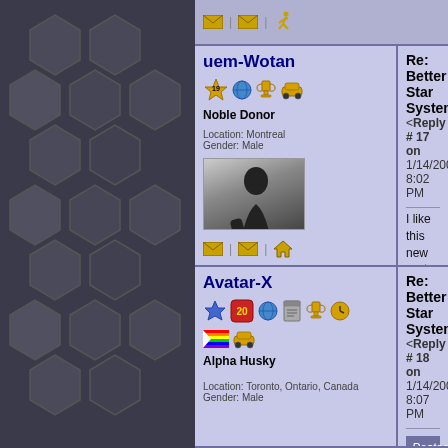[Figure (screenshot): Forum page screenshot showing two user posts about 'Re: Better Star System'. Left sidebar has hexagonal dark pattern. Top toolbar has envelope and running man icons. First post by uem-Wotan (Noble Donor, Location: Montreal, Gender: Male) with avatar photo of person silhouette. Reply #17 on 1/14/2004 8:02 PM with text about liking the new system and signature 'Asbestos, schmestos!'. Second post by Avatar-X (Alpha Husky, Location: Toronto, Ontario, Canada, Gender: Male). Reply #18 on 1/14/2004 8:07 PM with quoted block from uem-Wotan.]